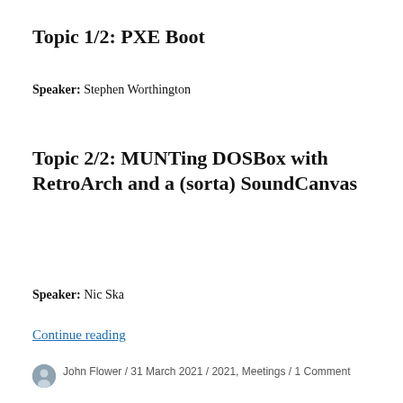Topic 1/2: PXE Boot
Speaker: Stephen Worthington
Topic 2/2: MUNTing DOSBox with RetroArch and a (sorta) SoundCanvas
Speaker: Nic Ska
Continue reading
John Flower / 31 March 2021 / 2021, Meetings / 1 Comment